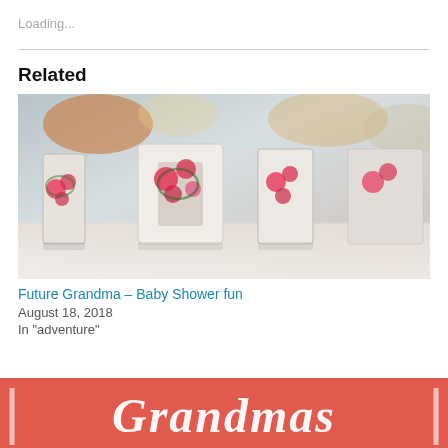Loading...
Related
[Figure (photo): Photo of decorative wooden LOVE letters with pink floral rose pattern on a white lace surface, blurred background with candles and glasses]
Future Grandma – Baby Shower fun
August 18, 2018
In "adventure"
[Figure (photo): Partial view of a coral/red background image with white text reading 'Grandmas' with vertical bar decorations]